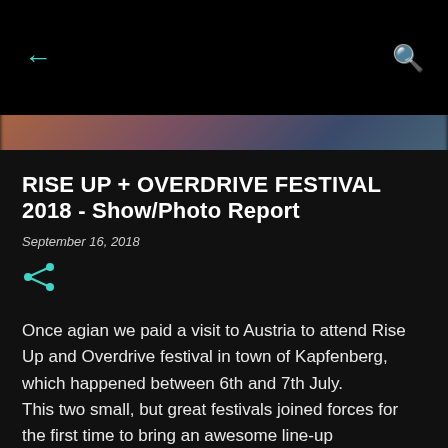← [back arrow]  [search icon]
[Figure (photo): Blurred warm-toned background photo of a festival scene with orange, purple, and teal tones]
RISE UP + OVERDRIVE FESTIVAL 2018 - Show/Photo Report
September 16, 2018
Once agian we paid a visit to Austria to attend Rise Up and Overdrive festival in town of Kapfenberg, which happened between 6th and 7th July. This two small, but great festivals joined forces for the first time to bring an awesome line-up